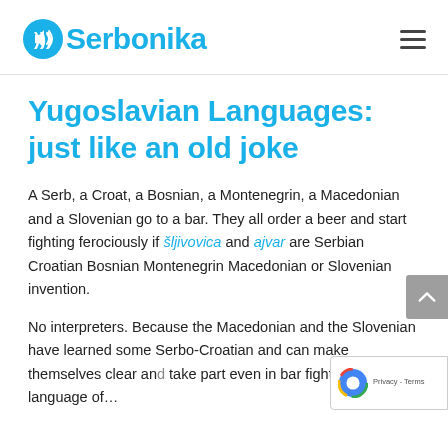Serbonika
Yugoslavian Languages: just like an old joke
A Serb, a Croat, a Bosnian, a Montenegrin, a Macedonian and a Slovenian go to a bar. They all order a beer and start fighting ferociously if šljivovica and ajvar are Serbian Croatian Bosnian Montenegrin Macedonian or Slovenian invention.
No interpreters. Because the Macedonian and the Slovenian have learned some Serbo-Croatian and can make themselves clear and take part even in bar fights in the language of…